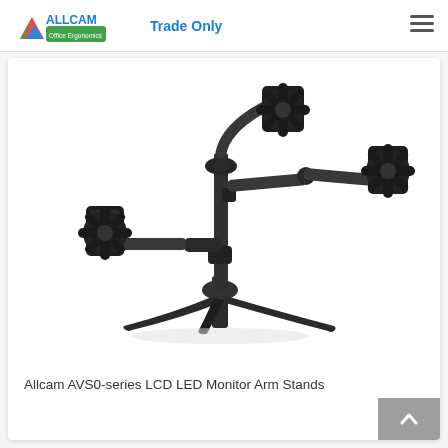ALLCAM Office Ergonomics — Trade Only
[Figure (photo): Allcam AVS0-series triple monitor arm stand product photo on white background. A black steel freestanding desk mount with tripod base, central pole, and three adjustable articulating arms each ending in a VESA monitor bracket.]
Allcam AVS0-series LCD LED Monitor Arm Stands